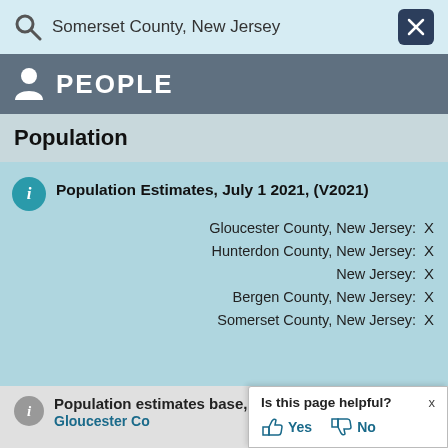Somerset County, New Jersey
PEOPLE
Population
Population Estimates, July 1 2021, (V2021)
Gloucester County, New Jersey: X
Hunterdon County, New Jersey: X
New Jersey: X
Bergen County, New Jersey: X
Somerset County, New Jersey: X
Population estimates base, Ap
Gloucester Co
Is this page helpful? x
Yes  No